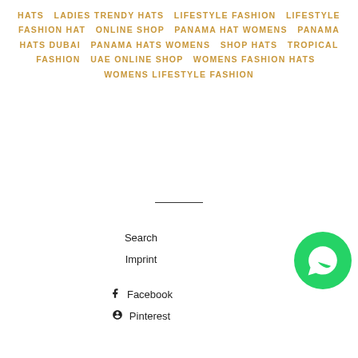HATS   LADIES TRENDY HATS   LIFESTYLE FASHION   LIFESTYLE FASHION HAT   ONLINE SHOP   PANAMA HAT WOMENS   PANAMA HATS DUBAI   PANAMA HATS WOMENS   SHOP HATS   TROPICAL FASHION   UAE ONLINE SHOP   WOMENS FASHION HATS   WOMENS LIFESTYLE FASHION
Search
Imprint
Facebook
Pinterest
[Figure (logo): WhatsApp contact button - green circle with white phone handset icon]